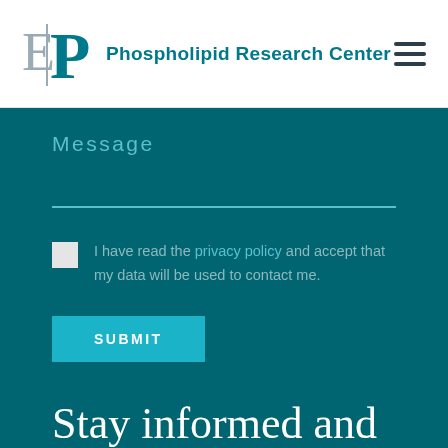Phospholipid Research Center
Message
I have read the privacy policy and accept that my data will be used to contact me.
SUBMIT
Stay informed and